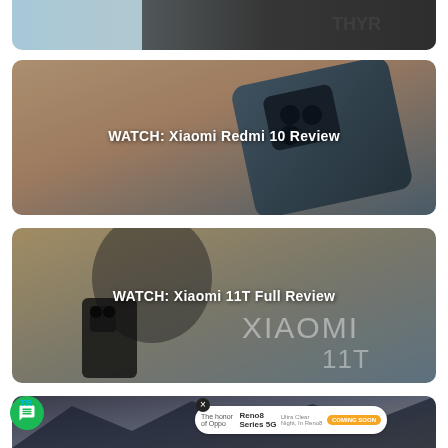[Figure (screenshot): Top partial card showing a dark tech/gaming themed image, partially cropped]
[Figure (screenshot): Video thumbnail card: Xiaomi Redmi 10 Review - back of phone on textured surface]
WATCH: Xiaomi Redmi 10 Review
[Figure (screenshot): Video thumbnail card: Xiaomi 11T Full Review - woman holding Xiaomi 11T phone with XIAOMI 11T branding]
WATCH: Xiaomi 11T Full Review
[Figure (screenshot): Bottom partial card with dark mountainous background, partially cropped, showing OPPO Reno8 Series ad overlay]